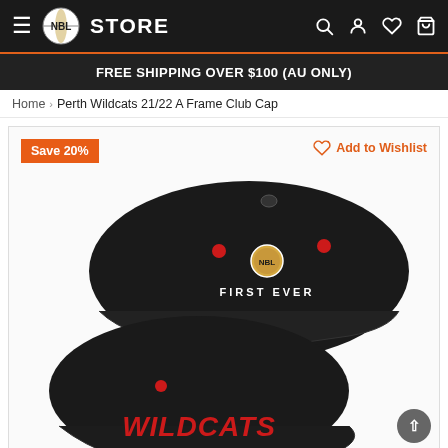NBL STORE — navigation bar with hamburger menu, NBL Store logo, search, account, wishlist, and cart icons
FREE SHIPPING OVER $100 (AU ONLY)
Home › Perth Wildcats 21/22 A Frame Club Cap
[Figure (photo): Product page for Perth Wildcats 21/22 A Frame Club Cap showing two black caps with red accent dots and NBL logo embroidery. Back of cap shows 'FIRST EVER' text. Front of second cap shows 'WILDCATS' in red text. Save 20% badge in orange top-left. Add to Wishlist link top-right. Scroll-up arrow button on right side.]